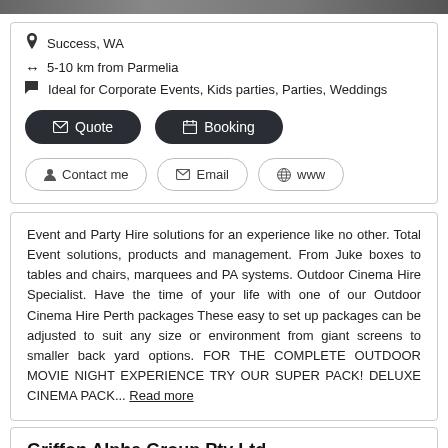[Figure (photo): Top image strip (partial photo visible at top of page)]
📍 Success, WA
↔ 5-10 km from Parmelia
🚩 Ideal for Corporate Events, Kids parties, Parties, Weddings
✉ Quote  📅 Booking
👤 Contact me  ✉ Email  🌐 www
Event and Party Hire solutions for an experience like no other. Total Event solutions, products and management. From Juke boxes to tables and chairs, marquees and PA systems. Outdoor Cinema Hire Specialist. Have the time of your life with one of our Outdoor Cinema Hire Perth packages These easy to set up packages can be adjusted to suit any size or environment from giant screens to smaller back yard options. FOR THE COMPLETE OUTDOOR MOVIE NIGHT EXPERIENCE TRY OUR SUPER PACK! DELUXE CINEMA PACK... Read more
Griffon Alpha Group Pty Ltd